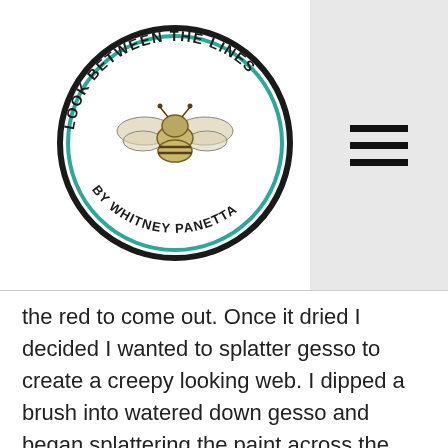[Figure (logo): Circular logo reading 'LOOK BETWEEN THE LINES BY WHITNEY PANETTA' with a bee illustration in the center, black and teal border]
the red to come out. Once it dried I decided I wanted to splatter gesso to create a creepy looking web. I dipped a brush into watered down gesso and began splattering the paint across the tissue paper.

As I worked I realized the white gesso was being dyed a pinkish hue from the pigment in the bleeding tissue paper. Although I had planned on a white web, I liked the look. I allowed it to dry and began working on my